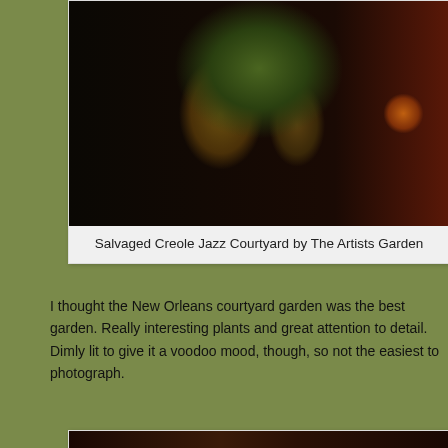[Figure (photo): Nighttime photo of hanging tropical plants (staghorn ferns, tillandsia, Spanish moss) with a gas lantern on a dark red wall in a New Orleans courtyard garden]
Salvaged Creole Jazz Courtyard by The Artists Garden
I thought the New Orleans courtyard garden was the best garden. Really interesting plants and great attention to detail. Dimly lit to give it a voodoo mood, though, so not the easiest to photograph.
[Figure (photo): Nighttime photo of a New Orleans-style courtyard with red walls, French doors, string lights, and tropical plants]